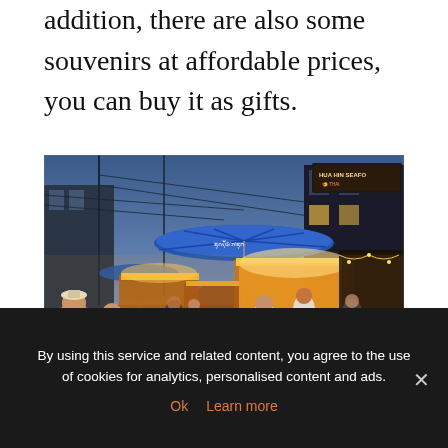addition, there are also some souvenirs at affordable prices, you can buy it as gifts.
[Figure (photo): Night market scene in Hua Hin, Thailand. A busy outdoor market street at dusk/night with illuminated food stalls, a large blue umbrella overhead, crowds of people browsing, warm golden lighting from vendor stalls, utility poles and wires visible against a blue twilight sky. A sign reading 'HUA HIN SEAFO...' is visible in the upper right. Watermark 'ORIENTAL ESCAPE' in bottom right corner.]
Hua Hin night market | family itinerary for thailand
By using this service and related content, you agree to the use of cookies for analytics, personalised content and ads.